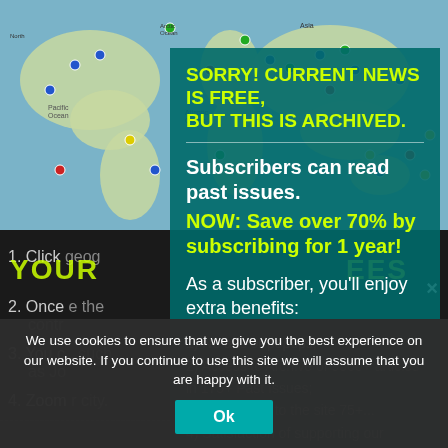[Figure (map): World map background with colored location pins scattered across it, teal/blue ocean colors]
1. Click... geog...
2. Once... the contr...
3. You c... such as Jo...
4. Zoom... r city.
SORRY! CURRENT NEWS IS FREE, BUT THIS IS ARCHIVED.
Subscribers can read past issues.
NOW: Save over 70% by subscribing for 1 year!
As a subscriber, you'll enjoy extra benefits:
1) No ads or popups;
2) Access to Archive of 9500+ articles in 175+ Past Issues;
3) All updates to the site 75+...
4) Satisfaction of supporting our generative work; and
5) Email notification of new issues (2X/month). And More!
We use cookies to ensure that we give you the best experience on our website. If you continue to use this site we will assume that you are happy with it.